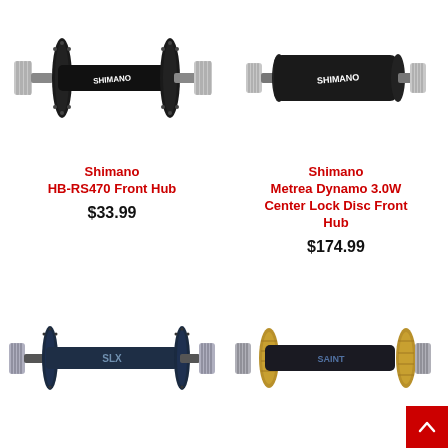[Figure (photo): Shimano HB-RS470 front hub, black, viewed from slight angle showing spoke flanges]
[Figure (photo): Shimano Metrea Dynamo 3.0W Center Lock Disc Front Hub, black, larger barrel body]
Shimano
HB-RS470 Front Hub
$33.99
Shimano
Metrea Dynamo 3.0W Center Lock Disc Front Hub
$174.99
[Figure (photo): Dark navy/black Shimano SLX front hub, elongated barrel, viewed from the side]
[Figure (photo): Black Shimano Saint hub with gold/brass freehub body, partially visible]